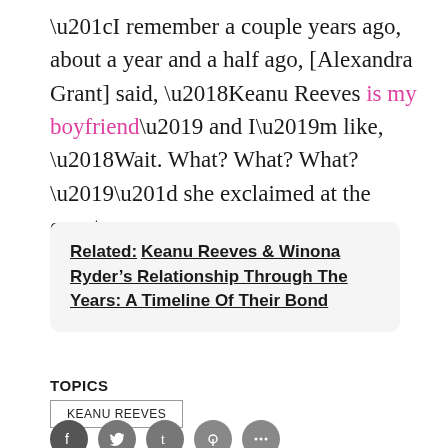“I remember a couple years ago, about a year and a half ago, [Alexandra Grant] said, ‘Keanu Reeves is my boyfriend’ and I’m like, ‘Wait. What? What? What?’” she exclaimed at the event.
Related: Keanu Reeves & Winona Ryder’s Relationship Through The Years: A Timeline Of Their Bond
TOPICS
KEANU REEVES
[Figure (other): Social media share icons: Facebook, Twitter, Tumblr, Pinterest, More]